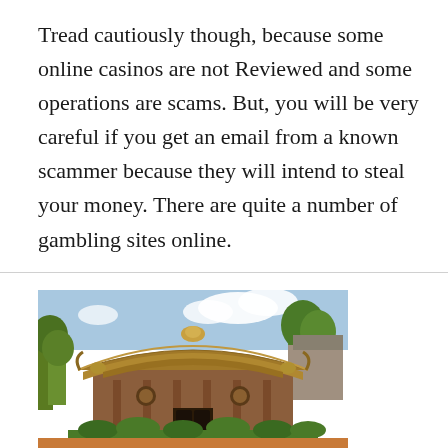Tread cautiously though, because some online casinos are not Reviewed and some operations are scams. But, you will be very careful if you get an email from a known scammer because they will intend to steal your money. There are quite a number of gambling sites online.
[Figure (photo): Photograph of a traditional Chinese temple or heritage building with ornate curved roofline decorations, red columns, and surrounded by green trees, taken in daytime with blue sky and clouds in the background.]